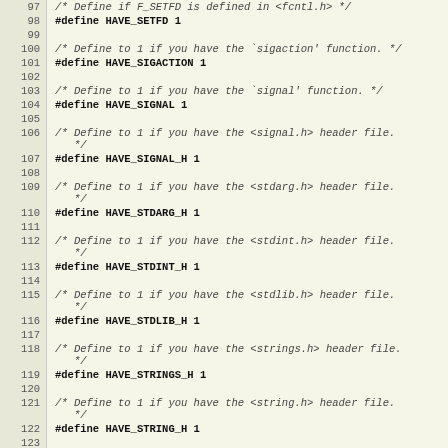[Figure (screenshot): Source code listing showing C preprocessor define macros and comments, lines 97-124, with line numbers on the left and code on the right on a light beige background.]